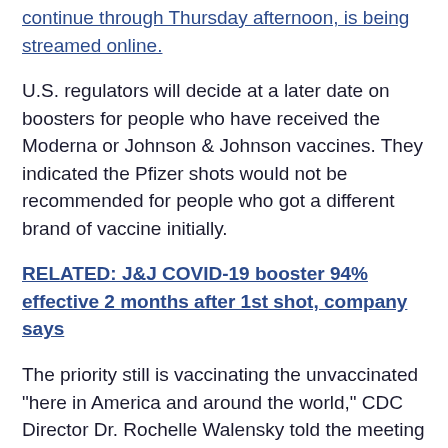continue through Thursday afternoon, is being streamed online.
U.S. regulators will decide at a later date on boosters for people who have received the Moderna or Johnson & Johnson vaccines. They indicated the Pfizer shots would not be recommended for people who got a different brand of vaccine initially.
RELATED: J&J COVID-19 booster 94% effective 2 months after 1st shot, company says
The priority still is vaccinating the unvaccinated "here in America and around the world," CDC Director Dr. Rochelle Walensky told the meeting on Thursday.
She acknowledged that the data on boosters "are not perfect."